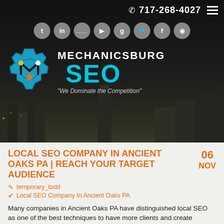[Figure (logo): Mechanicsburg SEO website header with dark city background, logo with gear icon, social media icons, phone number 717-268-4027, and tagline We Dominate the Competition]
LOCAL SEO COMPANY IN ANCIENT OAKS PA | REACH YOUR TARGET AUDIENCE
06 NOV
temporary_todd
Local SEO Company In Ancient Oaks PA
Many companies in Ancient Oaks PA have distinguished local SEO as one of the best techniques to have more clients and create conversions. A local SEO company in Ancient Oaks PA handles the creation of content that will take your company to ranking on